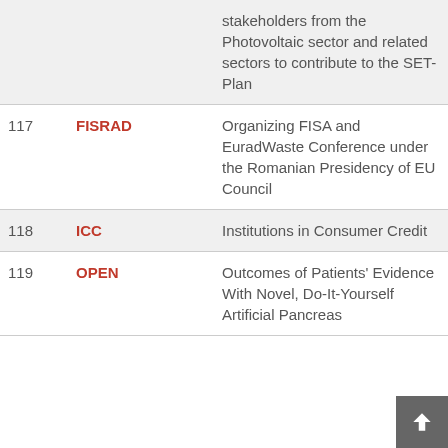| # | Acronym | Title |  |
| --- | --- | --- | --- |
|  |  | stakeholders from the Photovoltaic sector and related sectors to contribute to the SET-Plan |  |
| 117 | FISRAD | Organizing FISA and EuradWaste Conference under the Romanian Presidency of EU Council | 2 |
| 118 | ICC | Institutions in Consumer Credit | 2 |
| 119 | OPEN | Outcomes of Patients' Evidence With Novel, Do-It-Yourself Artificial Pancreas | 2 |